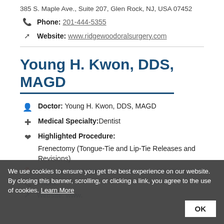385 S. Maple Ave., Suite 207, Glen Rock, NJ, USA 07452
Phone: 201-444-5355
Website: www.ridgewoodoralsurgery.com
Young H. Kwon, DDS, MAGD
Doctor: Young H. Kwon, DDS, MAGD
Medical Specialty: Dentist
Highlighted Procedure: Frenectomy (Tongue-Tie and Lip-Tie Releases and Revisions)
Address: 40-13 69th Street, Woodside, NY, USA 11377
Phone:
Website: www.
We use cookies to ensure you get the best experience on our website. By closing this banner, scrolling, or clicking a link, you agree to the use of cookies. Learn More OK